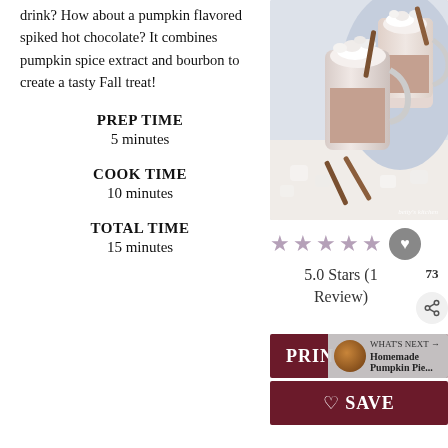drink? How about a pumpkin flavored spiked hot chocolate? It combines pumpkin spice extract and bourbon to create a tasty Fall treat!
PREP TIME
5 minutes
COOK TIME
10 minutes
TOTAL TIME
15 minutes
[Figure (photo): Two glass mugs of hot chocolate topped with toasted marshmallows and cinnamon sticks, surrounded by marshmallows and cinnamon sticks on a white surface. Photo credit: betty's kitchen]
★★★★★ 5.0 Stars (1 Review) 73
PRINT  WHAT'S NEXT → Homemade Pumpkin Pie...
♡ SAVE